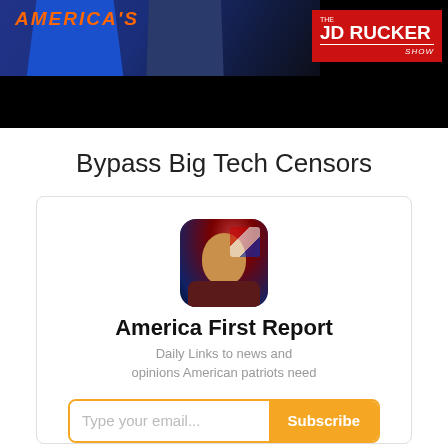[Figure (screenshot): Banner image showing people in front of a dark background with orange stylized text on the left, and the JD Rucker Show logo on a red background on the right]
Bypass Big Tech Censors
[Figure (infographic): Subscription card with avatar photo of a man with US flag background, title 'America First Report', description 'Daily Links to news and opinions American patriots need', and an email input with Subscribe button]
America First Report
Daily Links to news and opinions American patriots need